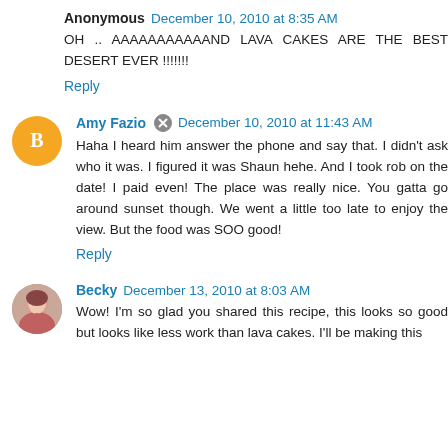Anonymous  December 10, 2010 at 8:35 AM
OH .. AAAAAAAAAAAND LAVA CAKES ARE THE BEST DESERT EVER !!!!!!!
Reply
Amy Fazio  December 10, 2010 at 11:43 AM
Haha I heard him answer the phone and say that. I didn't ask who it was. I figured it was Shaun hehe. And I took rob on the date! I paid even! The place was really nice. You gatta go around sunset though. We went a little too late to enjoy the view. But the food was SOO good!
Reply
Becky  December 13, 2010 at 8:03 AM
Wow! I'm so glad you shared this recipe, this looks so good but looks like less work than lava cakes. I'll be making this